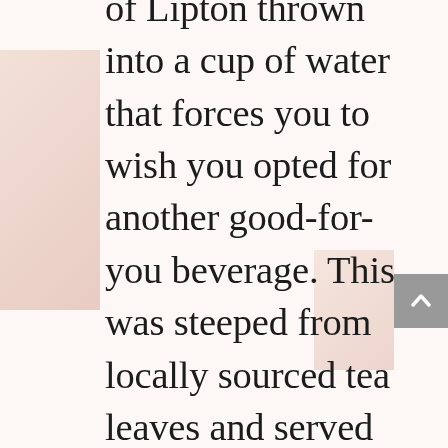of Lipton thrown into a cup of water that forces you to wish you opted for another good-for-you beverage. This was steeped from locally sourced tea leaves and served with an organic cookie. Sipping tea by the pool was therapeutic maneuver that left me dreaming that these moments of mental purity could be bottled and opened up each time client decides to “follow their gut” and torpedo your carefully crafted media buy you spent an entire quarter constructing. Yet, I digress...

I guess the moral of the story is that if you find yourself in Moscow anytime soon, book at appointment with Victoria at the